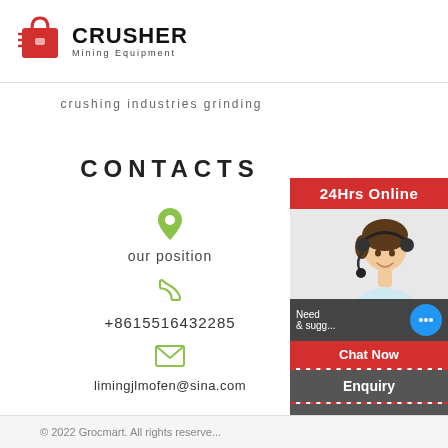[Figure (logo): Crusher Mining Equipment logo with red shopping bag icon and bold black text]
crushing industries grinding
CONTACTS
our position
+8615516432285
limingjlmofen@sina.com
[Figure (photo): Woman with headset smiling, 24Hrs Online customer service sidebar with chat bubble, Enquiry section, and limingjlmofen@sina.com email]
© 2022 Grocmart. All rights reserved.